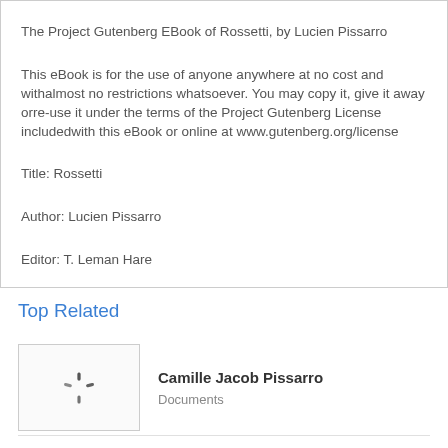The Project Gutenberg EBook of Rossetti, by Lucien Pissarro

This eBook is for the use of anyone anywhere at no cost and withalmost no restrictions whatsoever. You may copy it, give it away orre-use it under the terms of the Project Gutenberg License includedwith this eBook or online at www.gutenberg.org/license

Title: Rossetti

Author: Lucien Pissarro

Editor: T. Leman Hare
Top Related
[Figure (screenshot): Loading spinner thumbnail for Camille Jacob Pissarro document]
Camille Jacob Pissarro
Documents
[Figure (screenshot): Loading spinner thumbnail for ARTIST SPOTLIGHT Camille Pissarro document]
ARTIST SPOTLIGHT Camille Pissarro
Documents